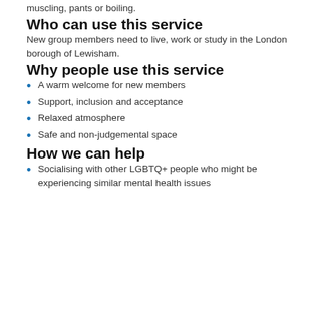muscling, pants or boiling.
Who can use this service
New group members need to live, work or study in the London borough of Lewisham.
Why people use this service
A warm welcome for new members
Support, inclusion and acceptance
Relaxed atmosphere
Safe and non-judgemental space
How we can help
Socialising with other LGBTQ+ people who might be experiencing similar mental health issues